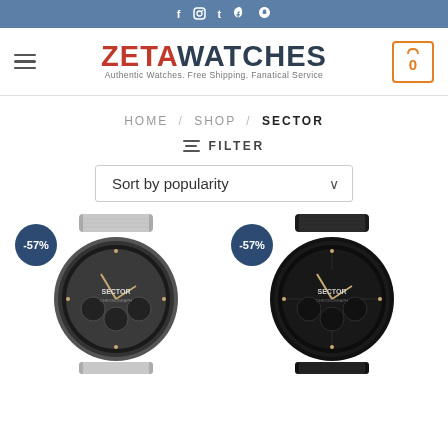f  IG  t  P (social icons)
[Figure (logo): ZETA WATCHES logo with tagline: Authentic Watches. Free Shipping. Fanatical Service]
HOME / SHOP / SECTOR
≡ FILTER
Sort by popularity
[Figure (photo): Sector chronograph watch with silver/gunmetal bracelet, -57% discount badge]
[Figure (photo): Sector chronograph watch with black PVD bracelet, -57% discount badge]